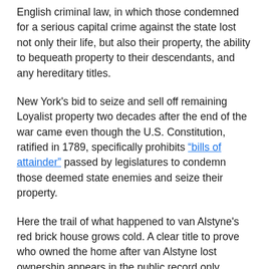English criminal law, in which those condemned for a serious capital crime against the state lost not only their life, but also their property, the ability to bequeath property to their descendants, and any hereditary titles.
New York's bid to seize and sell off remaining Loyalist property two decades after the end of the war came even though the U.S. Constitution, ratified in 1789, specifically prohibits "bills of attainder" passed by legislatures to condemn those deemed state enemies and seize their property.
Here the trail of what happened to van Alstyne's red brick house grows cold. A clear title to prove who owned the home after van Alstyne lost ownership appears in the public record only starting in the 1850s, although records of forfeiture and sale for other Loyalist properties in Columbia County do exist.